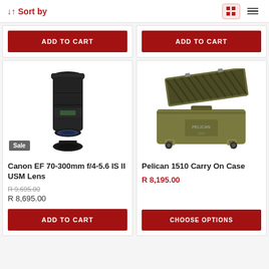↓↑ Sort by
[Figure (screenshot): Two ADD TO CART buttons from product cards above the fold]
[Figure (photo): Canon EF 70-300mm f/4-5.6 IS II USM Lens product photo with Sale badge]
Canon EF 70-300mm f/4-5.6 IS II USM Lens
R 9,695.00 (strikethrough original price)
R 8,695.00
ADD TO CART
[Figure (photo): Pelican 1510 Carry On Case product photo showing open hard case with foam]
Pelican 1510 Carry On Case
R 8,195.00
CHOOSE OPTIONS